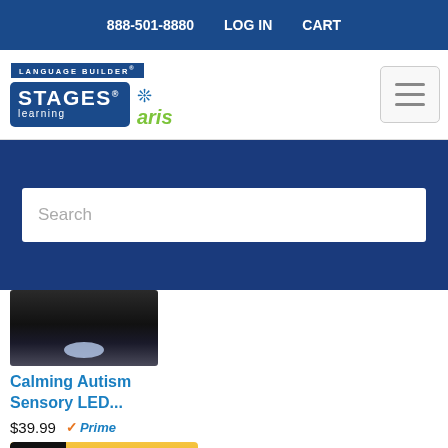888-501-8880   LOG IN   CART
[Figure (logo): Language Builder Stages Learning and Aris logo with hamburger menu icon]
[Figure (screenshot): Search bar on dark blue background]
[Figure (photo): Product image of Calming Autism Sensory LED light]
Calming Autism Sensory LED...
$39.99  Prime
Shop now